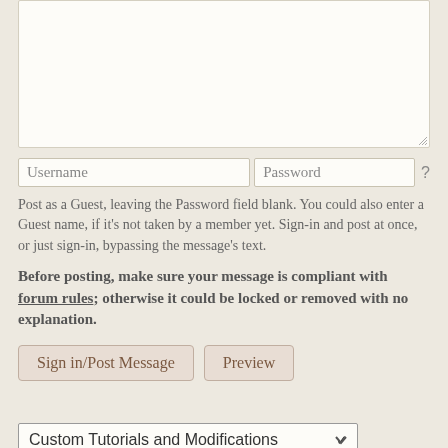[Figure (screenshot): Textarea input box (empty) for composing a forum message]
Username   Password   ?
Post as a Guest, leaving the Password field blank. You could also enter a Guest name, if it's not taken by a member yet. Sign-in and post at once, or just sign-in, bypassing the message's text.
Before posting, make sure your message is compliant with forum rules; otherwise it could be locked or removed with no explanation.
Sign in/Post Message   Preview
Custom Tutorials and Modifications
Switch Forum   ↑